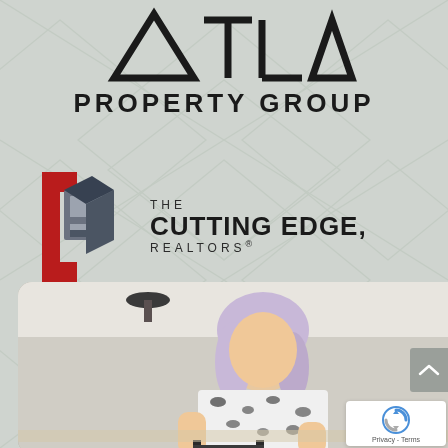[Figure (logo): ATLA Property Group logo with geometric triangle letters and 'PROPERTY GROUP' text below]
[Figure (logo): The Cutting Edge Realtors logo with red and grey 3D cube icon on left and text 'THE CUTTING EDGE, REALTORS®' on right]
[Figure (photo): Two women in a modern kitchen interior. Left woman has lavender/grey hair and wears a black and white leopard print blouse. Right woman has brunette hair and wears a white sleeveless top with a brown leather skirt. Both are leaning over a kitchen counter or bar stools.]
[Figure (other): Google reCAPTCHA badge with Privacy - Terms text]